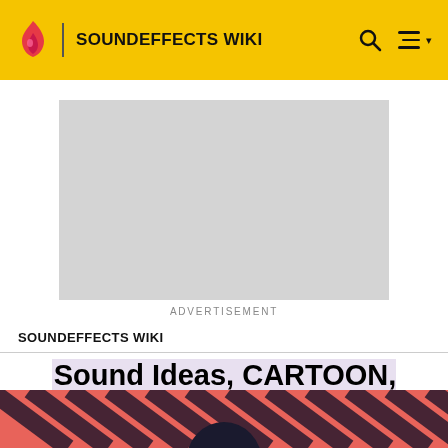SOUNDEFFECTS WIKI
[Figure (other): Advertisement placeholder (grey rectangle)]
ADVERTISEMENT
SOUNDEFFECTS WIKI
Sound Ideas, CARTOON, WHISTLE - SLIDE WHISTLE: ZIP DOWN 02
[Figure (photo): Bottom strip showing diagonal pink and dark striped pattern with partial figure head visible]